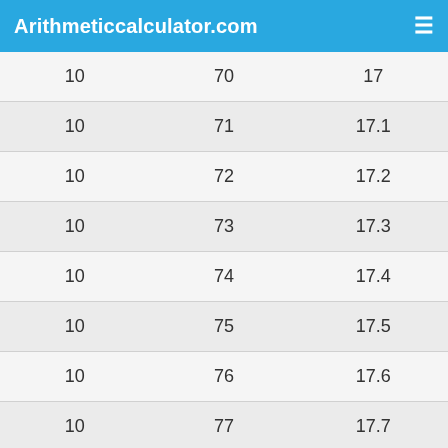Arithmeticcalculator.com
| 10 | 70 | 17 |
| 10 | 71 | 17.1 |
| 10 | 72 | 17.2 |
| 10 | 73 | 17.3 |
| 10 | 74 | 17.4 |
| 10 | 75 | 17.5 |
| 10 | 76 | 17.6 |
| 10 | 77 | 17.7 |
| 10 | 78 | 17.8 |